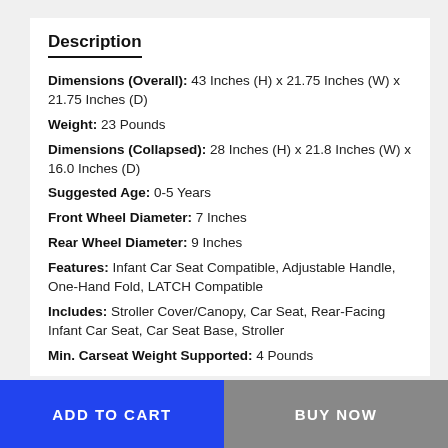Description
Dimensions (Overall): 43 Inches (H) x 21.75 Inches (W) x 21.75 Inches (D)
Weight: 23 Pounds
Dimensions (Collapsed): 28 Inches (H) x 21.8 Inches (W) x 16.0 Inches (D)
Suggested Age: 0-5 Years
Front Wheel Diameter: 7 Inches
Rear Wheel Diameter: 9 Inches
Features: Infant Car Seat Compatible, Adjustable Handle, One-Hand Fold, LATCH Compatible
Includes: Stroller Cover/Canopy, Car Seat, Rear-Facing Infant Car Seat, Car Seat Base, Stroller
Min. Carseat Weight Supported: 4 Pounds
Max. Stroller Weight Capacity: 50 Pounds
Max. Carseat Weight Capacity: 30 Pounds